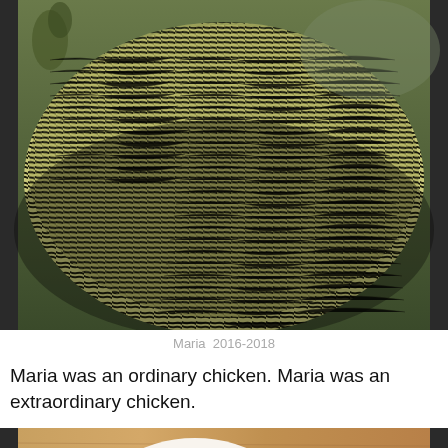[Figure (photo): Close-up photo of a barred/striped black and white patterned chicken, showing feathers on body, cropped at top of page]
Maria  2016-2018
Maria was an ordinary chicken. Maria was an extraordinary chicken.
[Figure (photo): Two eggs on a wooden surface next to a ruler: one large white/pale egg on the left, one smaller brown egg on the right. A metal ruler is visible at the bottom showing measurements 1 through 6. Ruler text reads STAINLESS STEEL and WESTCO.]